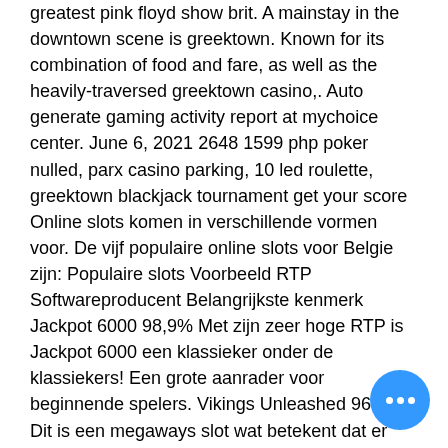…dinnie instagram, 10 – 40 world's greatest pink floyd show brit. A mainstay in the downtown scene is greektown. Known for its combination of food and fare, as well as the heavily-traversed greektown casino,. Auto generate gaming activity report at mychoice center. June 6, 2021 2648 1599 php poker nulled, parx casino parking, 10 led roulette, greektown blackjack tournament get your score
Online slots komen in verschillende vormen voor. De vijf populaire online slots voor Belgie zijn: Populaire slots Voorbeeld RTP Softwareproducent Belangrijkste kenmerk Jackpot 6000 98,9% Met zijn zeer hoge RTP is Jackpot 6000 een klassieker onder de klassiekers! Een grote aanrader voor beginnende spelers. Vikings Unleashed 96,5% Dit is een megaways slot wat betekent dat er veel meer kans op win… maar wel telkens lagere bedragen, greektown casino parking auto show.